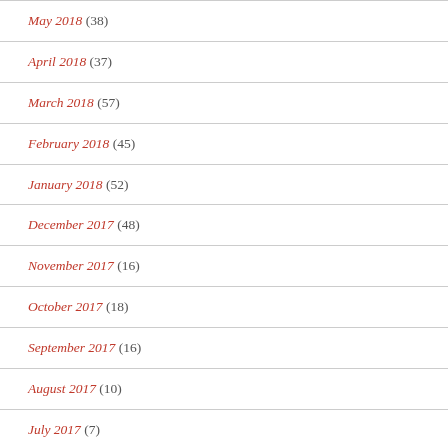May 2018 (38)
April 2018 (37)
March 2018 (57)
February 2018 (45)
January 2018 (52)
December 2017 (48)
November 2017 (16)
October 2017 (18)
September 2017 (16)
August 2017 (10)
July 2017 (7)